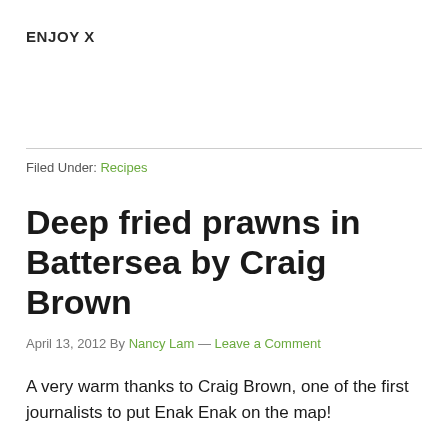ENJOY X
Filed Under: Recipes
Deep fried prawns in Battersea by Craig Brown
April 13, 2012 By Nancy Lam — Leave a Comment
A very warm thanks to Craig Brown, one of the first journalists to put Enak Enak on the map!